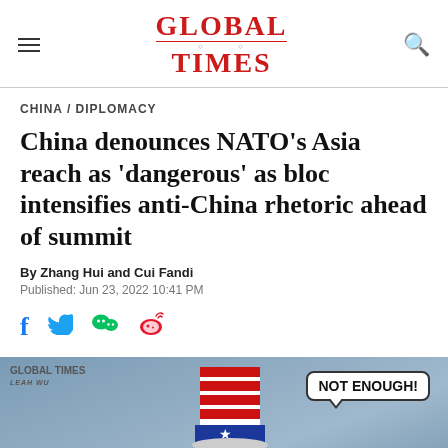Global Times
CHINA / DIPLOMACY
China denounces NATO’s Asia reach as ‘dangerous’ as bloc intensifies anti-China rhetoric ahead of summit
By Zhang Hui and Cui Fandi
Published: Jun 23, 2022 10:41 PM
[Figure (illustration): Editorial cartoon showing a figure in Uncle Sam hat saying 'NOT ENOUGH!' with blue cartoon characters, Global Times Leah watermark in corner]